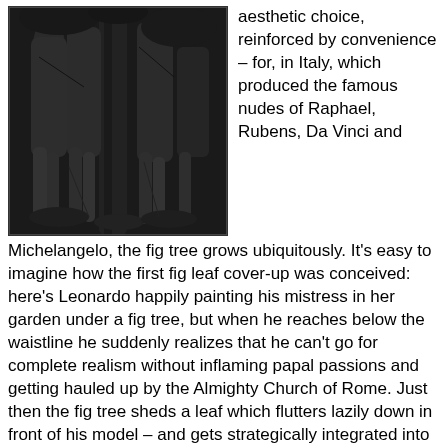[Figure (illustration): Black and white engraving or print showing multiple nude human figures standing together, with trees and foliage in the background. The image appears to be a classical artwork depicting the lower halves and full bodies of several figures.]
aesthetic choice, reinforced by convenience – for, in Italy, which produced the famous nudes of Raphael, Rubens, Da Vinci and Michelangelo, the fig tree grows ubiquitously. It's easy to imagine how the first fig leaf cover-up was conceived: here's Leonardo happily painting his mistress in her garden under a fig tree, but when he reaches below the waistline he suddenly realizes that he can't go for complete realism without inflaming papal passions and getting hauled up by the Almighty Church of Rome. Just then the fig tree sheds a leaf which flutters lazily down in front of his model – and gets strategically integrated into the final portrait.
In the Middle East such problems did not arise. Patriarchal